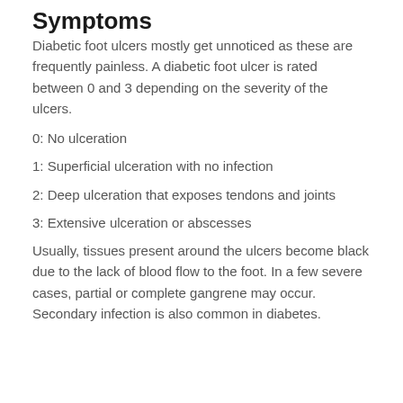Symptoms
Diabetic foot ulcers mostly get unnoticed as these are frequently painless. A diabetic foot ulcer is rated between 0 and 3 depending on the severity of the ulcers.
0: No ulceration
1: Superficial ulceration with no infection
2: Deep ulceration that exposes tendons and joints
3: Extensive ulceration or abscesses
Usually, tissues present around the ulcers become black due to the lack of blood flow to the foot. In a few severe cases, partial or complete gangrene may occur. Secondary infection is also common in diabetes.